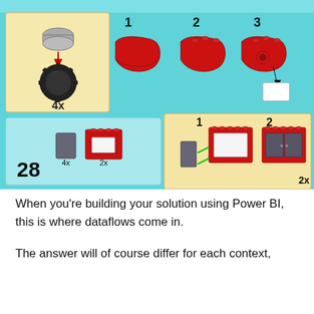[Figure (illustration): LEGO building instruction steps showing a gear/wheel piece labeled 4x on the left, then three steps (1, 2, 3) showing assembly of red LEGO bricks with studs and a sticker. Below that, a second instruction row showing a grey tile (4x) and a red windowed brick (2x) on the left, with steps 1 and 2 showing the tile being attached to the red brick to form a door. Step number 28 is shown in large bold text. Background is cyan/light blue.]
When you’re building your solution using Power BI, this is where dataflows come in.
The answer will of course differ for each context,